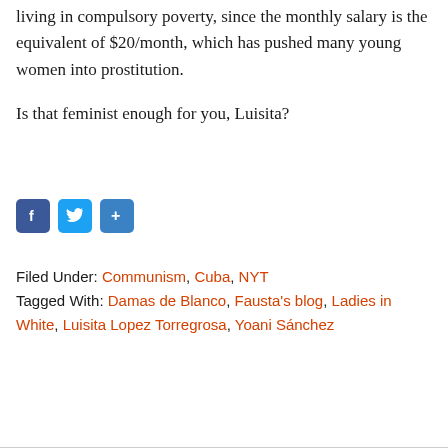living in compulsory poverty, since the monthly salary is the equivalent of $20/month, which has pushed many young women into prostitution.
Is that feminist enough for you, Luisita?
[Figure (other): Social sharing buttons: Facebook (blue), Twitter (blue), Share (blue)]
Filed Under: Communism, Cuba, NYT
Tagged With: Damas de Blanco, Fausta's blog, Ladies in White, Luisita Lopez Torregrosa, Yoani Sánchez